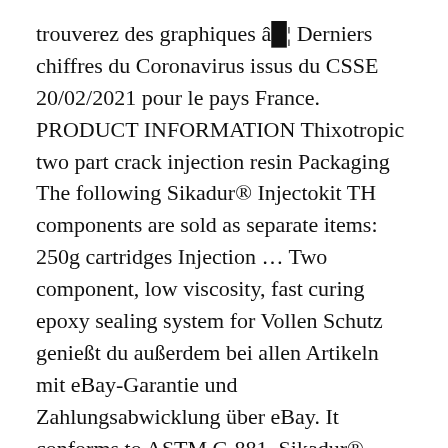trouverez des graphiques â¦ Derniers chiffres du Coronavirus issus du CSSE 20/02/2021 pour le pays France. PRODUCT INFORMATION Thixotropic two part crack injection resin Packaging The following Sikadur® Injectokit TH components are sold as separate items: 250g cartridges Injection ... Two component, low viscosity, fast curing epoxy sealing system for Vollen Schutz genießt du außerdem bei allen Artikeln mit eBay-Garantie und Zahlungsabwicklung über eBay. It conforms to ASTM C-881. Sikadur® Crack Repair Kit The Sikadur® Crack repair Kit for small concrete repairs with Sealing Material & Injections resin including all necessary Accessories & CE Marking according to ... Conforms to ASTM C-